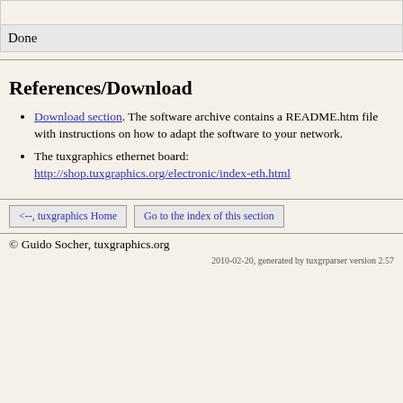Done
References/Download
Download section. The software archive contains a README.htm file with instructions on how to adapt the software to your network.
The tuxgraphics ethernet board: http://shop.tuxgraphics.org/electronic/index-eth.html
<--, tuxgraphics Home   Go to the index of this section
© Guido Socher, tuxgraphics.org
2010-02-20, generated by tuxgrparser version 2.57